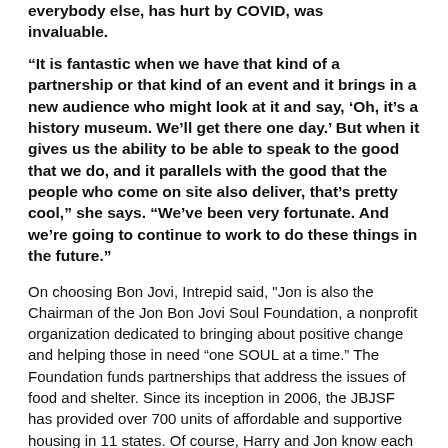everybody else, has hurt by COVID, was invaluable.
“It is fantastic when we have that kind of a partnership or that kind of an event and it brings in a new audience who might look at it and say, ‘Oh, it’s a history museum. We’ll get there one day.’ But when it gives us the ability to be able to speak to the good that we do, and it parallels with the good that the people who come on site also deliver, that’s pretty cool,” she says. “We’ve been very fortunate. And we’re going to continue to work to do these things in the future.”
On choosing Bon Jovi, Intrepid said, "Jon is also the Chairman of the Jon Bon Jovi Soul Foundation, a nonprofit organization dedicated to bringing about positive change and helping those in need “one SOUL at a time.” The Foundation funds partnerships that address the issues of food and shelter. Since its inception in 2006, the JBJSF has provided over 700 units of affordable and supportive housing in 11 states. Of course, Harry and Jon know each other quite